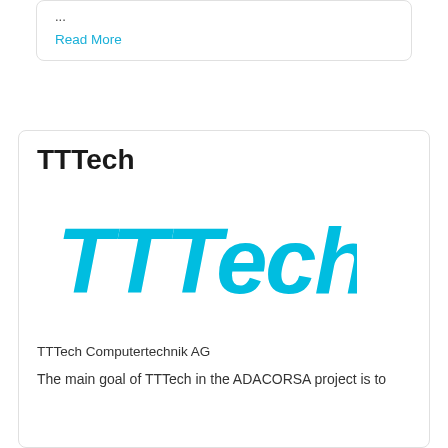...
Read More
TTTech
[Figure (logo): TTTech company logo in cyan/light blue italic font on white background]
TTTech Computertechnik AG
The main goal of TTTech in the ADACORSA project is to